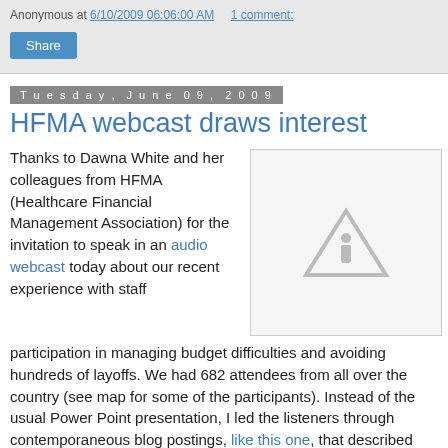Anonymous at 6/10/2009 06:06:00 AM    1 comment:
Share
Tuesday, June 09, 2009
HFMA webcast draws interest
Thanks to Dawna White and her colleagues from HFMA (Healthcare Financial Management Association) for the invitation to speak in an audio webcast today about our recent experience with staff participation in managing budget difficulties and avoiding hundreds of layoffs. We had 682 attendees from all over the country (see map for some of the participants). Instead of the usual Power Point presentation, I led the listeners through contemporaneous blog postings, like this one, that described what was going on during that time. The key lessons -- transparency to help create a common understanding of the financial situation, creation of live and electronic forums to
[Figure (illustration): Image placeholder with warning/broken image triangle icon]